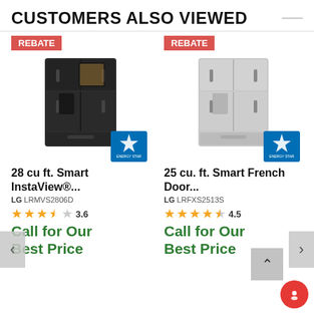CUSTOMERS ALSO VIEWED
[Figure (photo): LG black stainless InstaView French door refrigerator with Energy Star badge and Rebate badge]
28 cu ft. Smart InstaView®...
LG LRMVS2806D
3.6 stars — rating 3.6
Call for Our Best Price
[Figure (photo): LG stainless Smart French Door refrigerator with Energy Star badge and Rebate badge]
25 cu. ft. Smart French Door...
LG LRFXS2513S
4.5 stars — rating 4.5
Call for Our Best Price